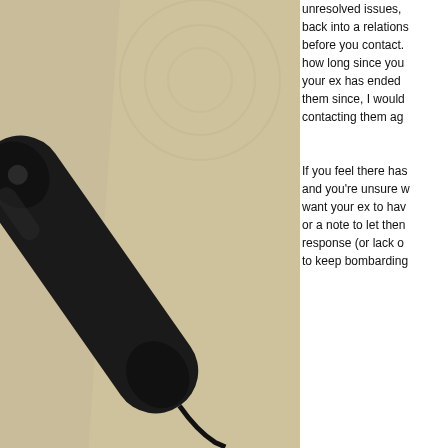[Figure (photo): Close-up photo of a black cordless/landline phone handset lying on a cardboard surface, with dreamstime.com watermark]
Download - Royalty Free Stock Photography from © Dreamstime.com
unresolved issues, back into a relations before you contact. how long since you your ex has ended them since, I would contacting them ag
If you feel there has and you're unsure w want your ex to hav or a note to let then response (or lack o to keep bombarding
When they're ready to talk to you, they will contact.
the one to break up with your ex and now you're feeling xtre
[Figure (screenshot): Bloomingdales advertisement banner: 'View Today's Top Deals!' with SHOP NOW > button and model wearing hat]